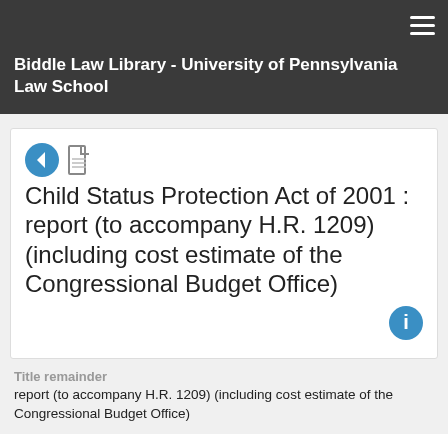Biddle Law Library - University of Pennsylvania Law School
Child Status Protection Act of 2001 : report (to accompany H.R. 1209) (including cost estimate of the Congressional Budget Office)
Title remainder
report (to accompany H.R. 1209) (including cost estimate of the Congressional Budget Office)